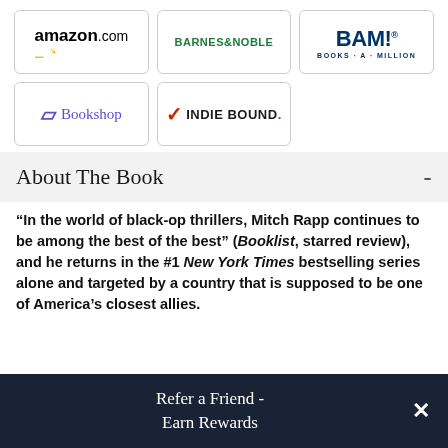[Figure (logo): amazon.com logo with orange arrow]
[Figure (logo): Barnes & Noble logo in green]
[Figure (logo): BAM! Books-A-Million logo in navy blue]
[Figure (logo): Bookshop logo with purple B icon]
[Figure (logo): IndieBound logo with red checkmark]
About The Book
“In the world of black-op thrillers, Mitch Rapp continues to be among the best of the best” (Booklist, starred review), and he returns in the #1 New York Times bestselling series alone and targeted by a country that is supposed to be one of America’s closest allies.
Refer a Friend - Earn Rewards